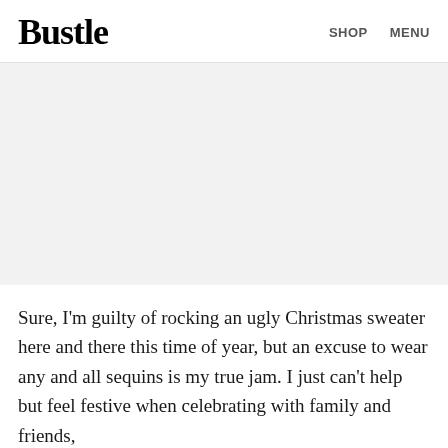Bustle   SHOP   MENU
[Figure (photo): Large image placeholder area with light gray background]
Sure, I'm guilty of rocking an ugly Christmas sweater here and there this time of year, but an excuse to wear any and all sequins is my true jam. I just can't help but feel festive when celebrating with family and friends,